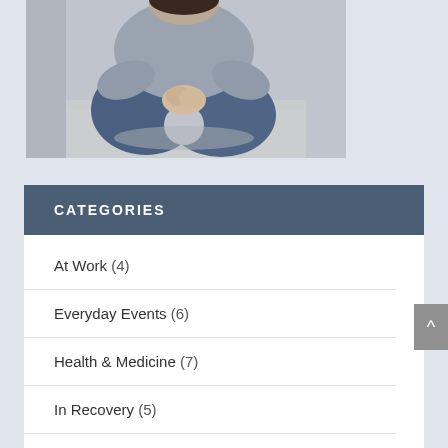[Figure (photo): Top-down view of a person kneeling on the floor with hands clasped together, wearing jeans and a grey sweater]
CATEGORIES
At Work (4)
Everyday Events (6)
Health & Medicine (7)
In Recovery (5)
In the Media (7)